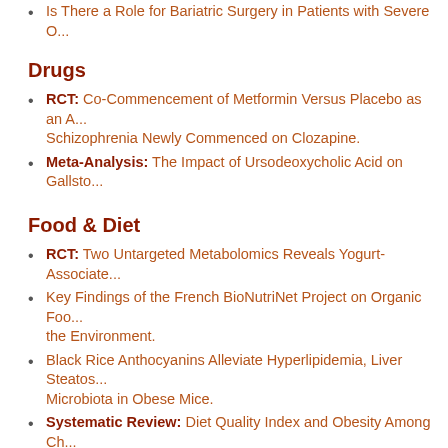Is There a Role for Bariatric Surgery in Patients with Severe O...
Drugs
RCT: Co-Commencement of Metformin Versus Placebo as an A... Schizophrenia Newly Commenced on Clozapine.
Meta-Analysis: The Impact of Ursodeoxycholic Acid on Gallsto...
Food & Diet
RCT: Two Untargeted Metabolomics Reveals Yogurt-Associate...
Key Findings of the French BioNutriNet Project on Organic Foo... the Environment.
Black Rice Anthocyanins Alleviate Hyperlipidemia, Liver Steatos... Microbiota in Obese Mice.
Systematic Review: Diet Quality Index and Obesity Among Ch...
Eucaloric Balanced Diet Improved Objective Sleep in Adolescen...
Ultra-Processed Food Consumption Among US Adults from 200...
Caloric and Dietary Restriction
Fasting-Mimicking Diet Prevents High-Fat Diet Effect on Cardio...